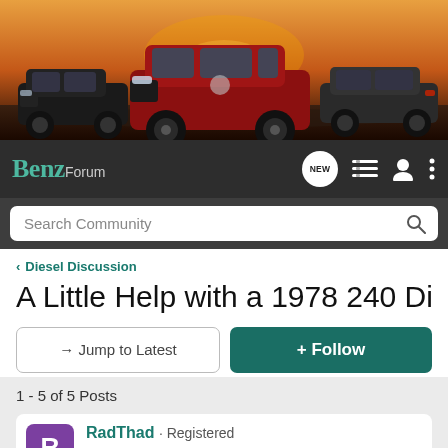[Figure (photo): Banner image showing three Mercedes-Benz cars against a sunset sky: a dark SUV on the left, a red sedan in the center front, and a dark coupe on the right]
BenzForum — NEW menu icons and search bar
Search Community
< Diesel Discussion
A Little Help with a 1978 240 Diesel
→ Jump to Latest
+ Follow
1 - 5 of 5 Posts
RadThad · Registered
Joined Feb 19, 2003 · 1 Posts